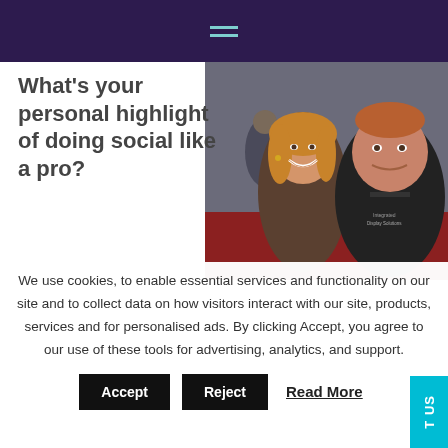Navigation menu (hamburger icon)
What's your personal highlight of doing social like a pro?
[Figure (photo): Selfie photo of a smiling woman with long blonde hair and a man in a dark shirt, taken at an event with a red carpet and crowd in background]
We use cookies, to enable essential services and functionality on our site and to collect data on how visitors interact with our site, products, services and for personalised ads. By clicking Accept, you agree to our use of these tools for advertising, analytics, and support.
Accept  Reject  Read More